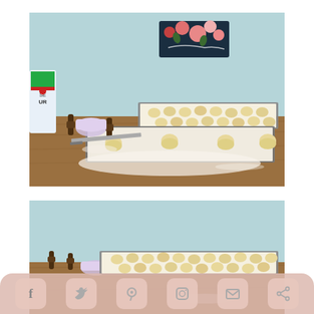[Figure (photo): Cookie dough balls arranged on parchment paper on baking sheets on a wooden table, with a light blue wall in the background, a decorative floral art print, a flour bag on the left, and small rolling pins on the table.]
[Figure (photo): Second photo of the same baking scene, cropped to show cookie dough balls on parchment-lined baking sheets on a wooden table against a light blue wall, with small rolling pins visible.]
[Figure (infographic): Social sharing bar at bottom with icons for Facebook, Twitter, Pinterest, Instagram, Email, and Share, displayed as rounded square buttons with a dusty pink/salmon background.]